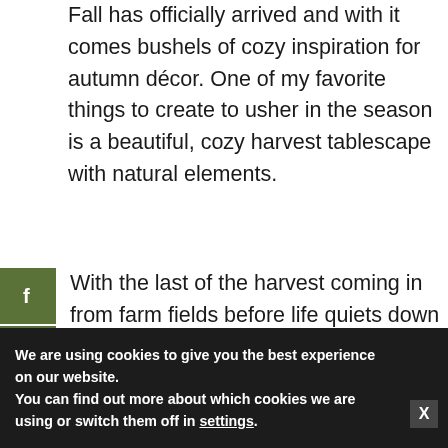Fall has officially arrived and with it comes bushels of cozy inspiration for autumn décor. One of my favorite things to create to usher in the season is a beautiful, cozy harvest tablescape with natural elements.
With the last of the harvest coming in from farm fields before life quiets down for the winter, autumn feels like a true celebration of the seasons' of the past year and all the work we've put into making
We are using cookies to give you the best experience on our website.
You can find out more about which cookies we are using or switch them off in settings.